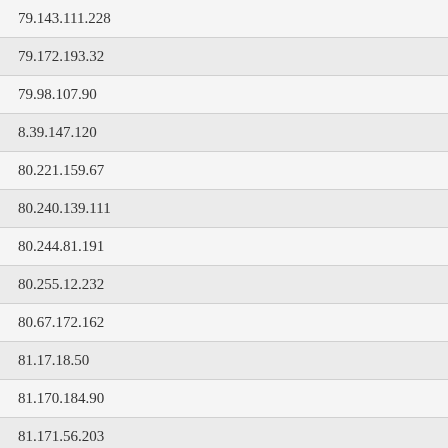| 79.143.111.228 |
| 79.172.193.32 |
| 79.98.107.90 |
| 8.39.147.120 |
| 80.221.159.67 |
| 80.240.139.111 |
| 80.244.81.191 |
| 80.255.12.232 |
| 80.67.172.162 |
| 81.17.18.50 |
| 81.170.184.90 |
| 81.171.56.203 |
| 81.210.129.164 |